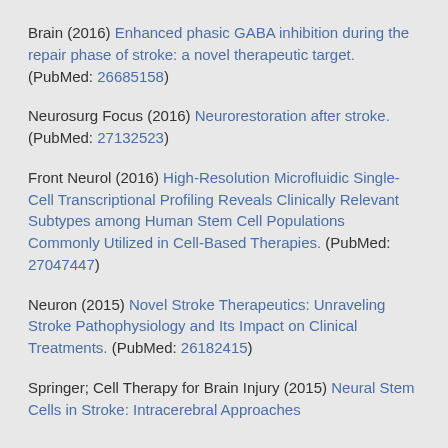Brain (2016) Enhanced phasic GABA inhibition during the repair phase of stroke: a novel therapeutic target. (PubMed: 26685158)
Neurosurg Focus (2016) Neurorestoration after stroke. (PubMed: 27132523)
Front Neurol (2016) High-Resolution Microfluidic Single-Cell Transcriptional Profiling Reveals Clinically Relevant Subtypes among Human Stem Cell Populations Commonly Utilized in Cell-Based Therapies. (PubMed: 27047447)
Neuron (2015) Novel Stroke Therapeutics: Unraveling Stroke Pathophysiology and Its Impact on Clinical Treatments. (PubMed: 26182415)
Springer; Cell Therapy for Brain Injury (2015) Neural Stem Cells in Stroke: Intracerebral Approaches